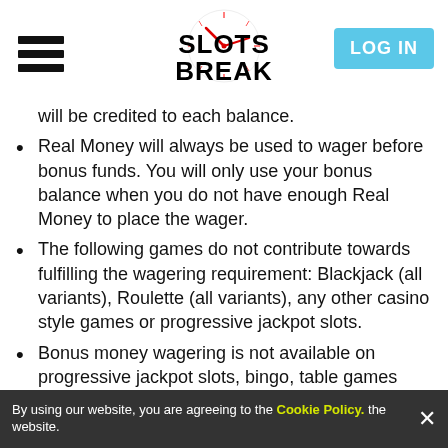[Figure (logo): SlotsBreak logo with clock graphic in the header]
will be credited to each balance.
Real Money will always be used to wager before bonus funds. You will only use your bonus balance when you do not have enough Real Money to place the wager.
The following games do not contribute towards fulfilling the wagering requirement: Blackjack (all variants), Roulette (all variants), any other casino style games or progressive jackpot slots.
Bonus money wagering is not available on progressive jackpot slots, bingo, table games and live casino games.
You can track your remaining wagering requirement on your account in the the website.
By using our website, you are agreeing to the Cookie Policy.